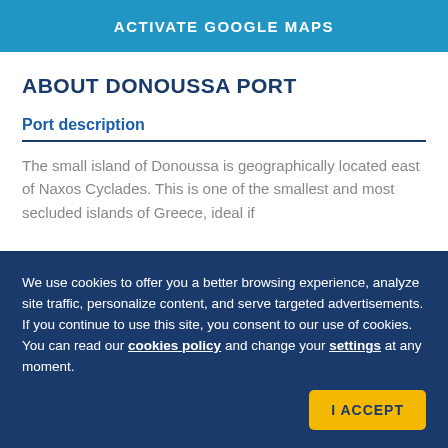ACTIVATE GOOGLE MAPS
ABOUT DONOUSSA PORT
Port description
The small island of Donoussa is geographically located east of Naxos Cyclades. This is one of the smallest and most secluded islands of Greece, ideal if
We use cookies to offer you a better browsing experience, analyze site traffic, personalize content, and serve targeted advertisements. If you continue to use this site, you consent to our use of cookies. You can read our cookies policy and change your settings at any moment.